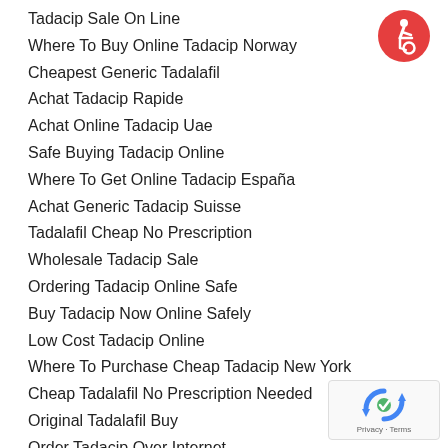Tadacip Sale On Line
Where To Buy Online Tadacip Norway
Cheapest Generic Tadalafil
Achat Tadacip Rapide
Achat Online Tadacip Uae
Safe Buying Tadacip Online
Where To Get Online Tadacip España
Achat Generic Tadacip Suisse
Tadalafil Cheap No Prescription
Wholesale Tadacip Sale
Ordering Tadacip Online Safe
Buy Tadacip Now Online Safely
Low Cost Tadacip Online
Where To Purchase Cheap Tadacip New York
Cheap Tadalafil No Prescription Needed
Original Tadalafil Buy
Order Tadacip Over Internet
Tadalafil Order Generic
[Figure (logo): Red circle accessibility icon with wheelchair user symbol in white]
[Figure (logo): Google reCAPTCHA widget with Privacy and Terms text]